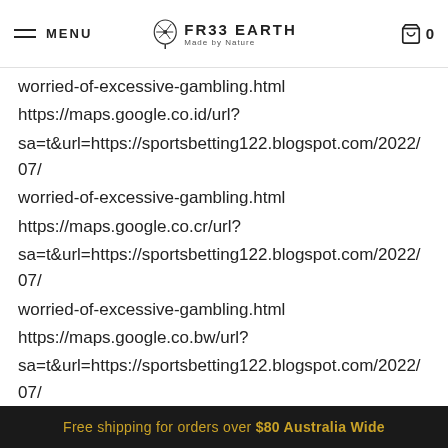MENU | FR33 EARTH | 0
worried-of-excessive-gambling.html https://maps.google.co.id/url? sa=t&url=https://sportsbetting122.blogspot.com/2022/07/ worried-of-excessive-gambling.html https://maps.google.co.cr/url? sa=t&url=https://sportsbetting122.blogspot.com/2022/07/ worried-of-excessive-gambling.html https://maps.google.co.bw/url? sa=t&url=https://sportsbetting122.blogspot.com/2022/07/ worried-of-excessive-gambling.html https://maps.google.cm/url? sa=t&url=https://sportsbetting122.blogspot.com/2022/07/ worried-of-excessive-gambling.html https://maps.google.cl/url? sa=t&url=https://sportsbetting122.blogspot.com/2022/07/
Free shipping for orders over $80 Australia Wide